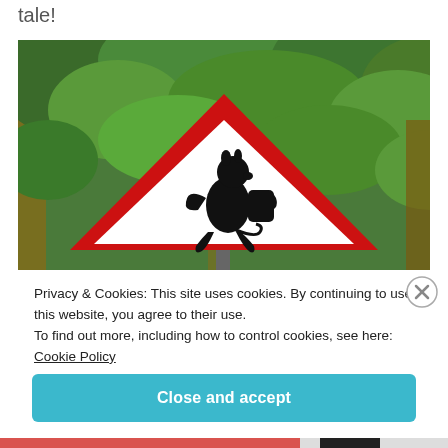tale!
[Figure (photo): A red and white triangular warning road sign featuring a silhouette of a troll creature carrying a sack, set against a background of lush green trees.]
Privacy & Cookies: This site uses cookies. By continuing to use this website, you agree to their use.
To find out more, including how to control cookies, see here:
Cookie Policy
Close and accept